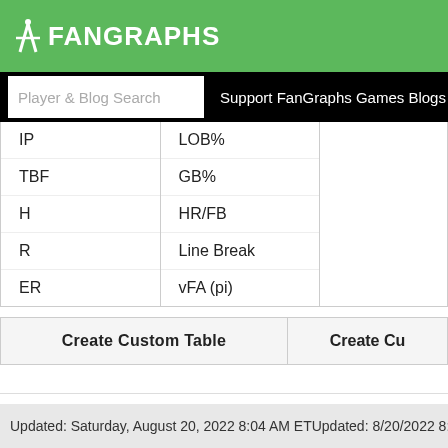.iliFANGRAPHS
Player & Blog Search  Support FanGraphs Games Blogs Projectio
IP
TBF
H
R
ER
LOB%
GB%
HR/FB
Line Break
vFA (pi)
Create Custom Table
Create Cu
Updated: Saturday, August 20, 2022 8:04 AM ETUpdated: 8/20/2022 8:04 .